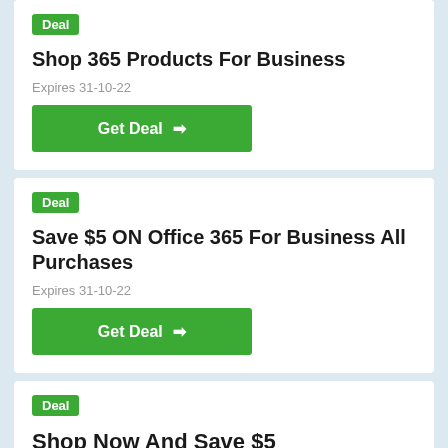Shop 365 Products For Business
Expires 31-10-22
Get Deal →
Save $5 ON Office 365 For Business All Purchases
Expires 31-10-22
Get Deal →
Shop Now And Save $5